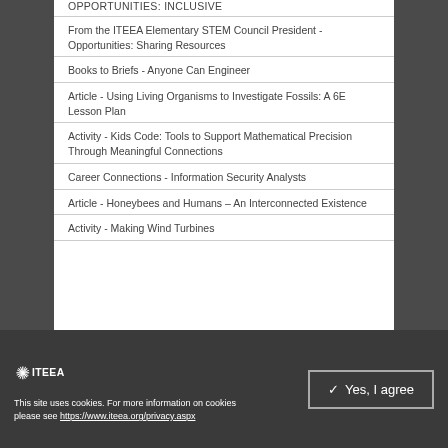OPPORTUNITIES: INCLUSIVE
From the ITEEA Elementary STEM Council President - Opportunities: Sharing Resources
Books to Briefs - Anyone Can Engineer
Article - Using Living Organisms to Investigate Fossils: A 6E Lesson Plan
Activity - Kids Code: Tools to Support Mathematical Precision Through Meaningful Connections
Career Connections - Information Security Analysts
Article - Honeybees and Humans – An Interconnected Existence
Activity - Making Wind Turbines
This site uses cookies. For more information on cookies please see https://www.iteea.org/privacy.aspx